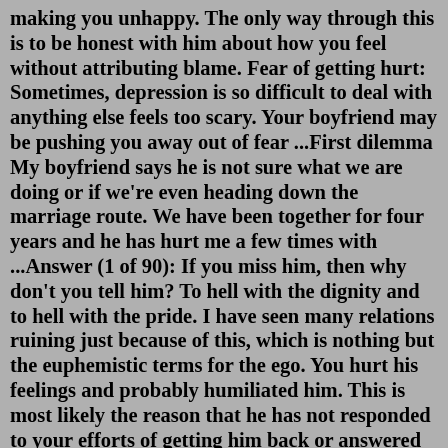making you unhappy. The only way through this is to be honest with him about how you feel without attributing blame. Fear of getting hurt: Sometimes, depression is so difficult to deal with anything else feels too scary. Your boyfriend may be pushing you away out of fear ...First dilemma My boyfriend says he is not sure what we are doing or if we're even heading down the marriage route. We have been together for four years and he has hurt me a few times with ...Answer (1 of 90): If you miss him, then why don't you tell him? To hell with the dignity and to hell with the pride. I have seen many relations ruining just because of this, which is nothing but the euphemistic terms for the ego. You hurt his feelings and probably humiliated him. This is most likely the reason that he has not responded to your efforts of getting him back or answered any of your calls. Try leaving him alone for a while. Give him some space and simply take some time to figure out the real disguised reasons you dumped him. I Cheated On My Husband Now I Want Him Back by A matter of C...